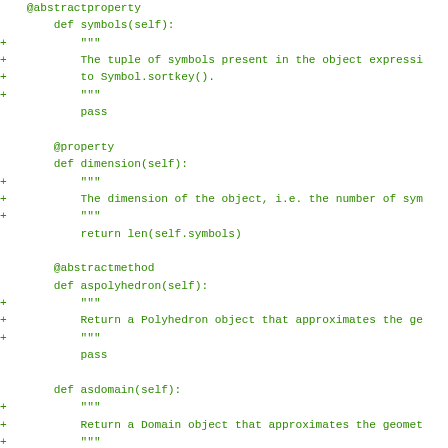[Figure (screenshot): A code diff snippet showing Python class methods with green-colored added lines (marked with +). Shows methods: symbols, dimension, aspolyhedron, asdomain, and class Coordinates with docstrings and method bodies.]